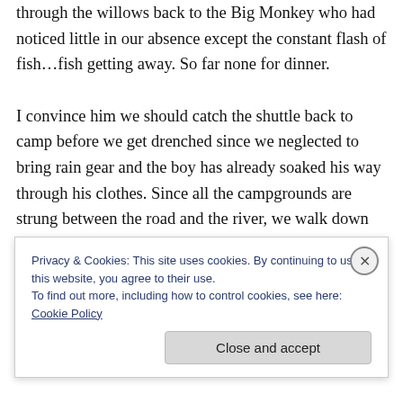through the willows back to the Big Monkey who had noticed little in our absence except the constant flash of fish…fish getting away. So far none for dinner.

I convince him we should catch the shuttle back to camp before we get drenched since we neglected to bring rain gear and the boy has already soaked his way through his clothes. Since all the campgrounds are strung between the road and the river, we walk down the road toward the Minaret Falls campground shuttle stop. It's quite a walk, and when I look at the map realize that there's a trail along the creek which leaves one end of this campground and
Privacy & Cookies: This site uses cookies. By continuing to use this website, you agree to their use.
To find out more, including how to control cookies, see here: Cookie Policy
Close and accept